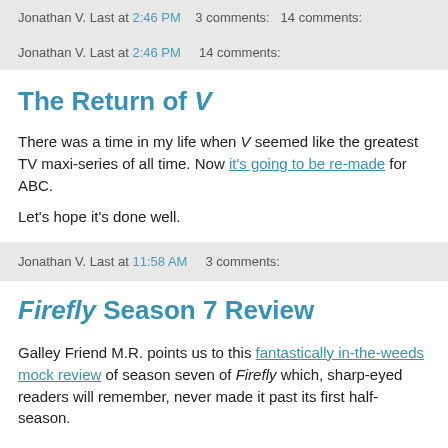Jonathan V. Last at 2:46 PM    14 comments:
The Return of V
There was a time in my life when V seemed like the greatest TV maxi-series of all time. Now it's going to be re-made for ABC.
Let's hope it's done well.
Jonathan V. Last at 11:58 AM    3 comments:
Firefly Season 7 Review
Galley Friend M.R. points us to this fantastically in-the-weeds mock review of season seven of Firefly which, sharp-eyed readers will remember, never made it past its first half-season.